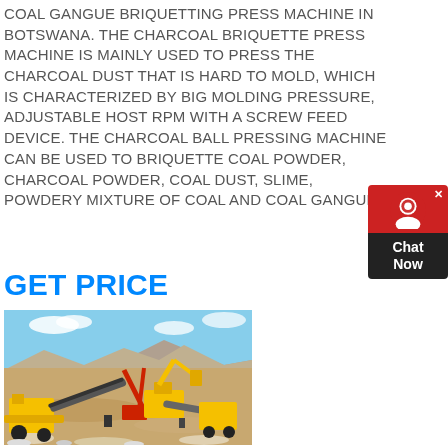COAL GANGUE BRIQUETTING PRESS MACHINE IN BOTSWANA. THE CHARCOAL BRIQUETTE PRESS MACHINE IS MAINLY USED TO PRESS THE CHARCOAL DUST THAT IS HARD TO MOLD, WHICH IS CHARACTERIZED BY BIG MOLDING PRESSURE, ADJUSTABLE HOST RPM WITH A SCREW FEED DEVICE. THE CHARCOAL BALL PRESSING MACHINE CAN BE USED TO BRIQUETTE COAL POWDER, CHARCOAL POWDER, COAL DUST, SLIME, POWDERY MIXTURE OF COAL AND COAL GANGUE
GET PRICE
[Figure (photo): Outdoor mining site in Botswana showing yellow heavy machinery including crushers and conveyors on dry desert terrain with blue sky and rocky hillside in background]